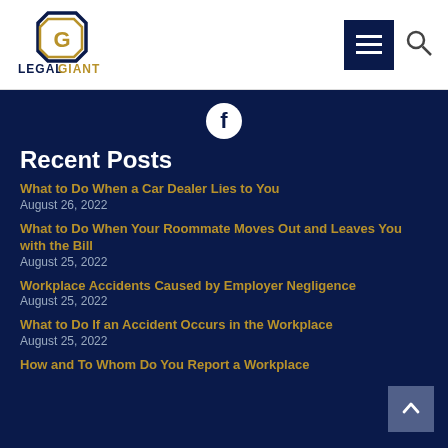Legal Giant — navigation header with logo, hamburger menu, and search icon
[Figure (logo): Legal Giant logo: diamond shape with stylized 'G' in blue and gold, with text LEGAL GIANT below]
[Figure (other): Facebook circular icon in white on dark navy background]
Recent Posts
What to Do When a Car Dealer Lies to You
August 26, 2022
What to Do When Your Roommate Moves Out and Leaves You with the Bill
August 25, 2022
Workplace Accidents Caused by Employer Negligence
August 25, 2022
What to Do If an Accident Occurs in the Workplace
August 25, 2022
How and To Whom Do You Report a Workplace